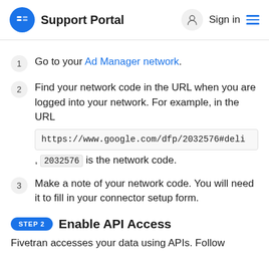Support Portal   Sign in
1  Go to your Ad Manager network.
2  Find your network code in the URL when you are logged into your network. For example, in the URL https://www.google.com/dfp/2032576#deli , 2032576 is the network code.
3  Make a note of your network code. You will need it to fill in your connector setup form.
STEP 2  Enable API Access
Fivetran accesses your data using APIs. Follow